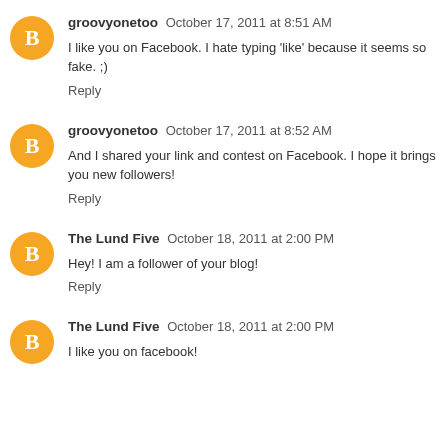groovyonetoo  October 17, 2011 at 8:51 AM
I like you on Facebook. I hate typing 'like' because it seems so fake. ;)
Reply
groovyonetoo  October 17, 2011 at 8:52 AM
And I shared your link and contest on Facebook. I hope it brings you new followers!
Reply
The Lund Five  October 18, 2011 at 2:00 PM
Hey! I am a follower of your blog!
Reply
The Lund Five  October 18, 2011 at 2:00 PM
I like you on facebook!